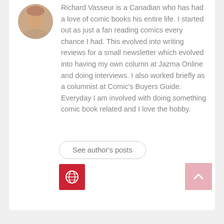[Figure (photo): Circular profile photo of a person (Richard Vasseur), partially cropped, showing face and upper body.]
Richard Vasseur is a Canadian who has had a love of comic books his entire life. I started out as just a fan reading comics every chance I had. This evolved into writing reviews for a small newsletter which evolved into having my own column at Jazma Online and doing interviews. I also worked briefly as a columnist at Comic's Buyers Guide. Everyday I am involved with doing something comic book related and I love the hobby.
See author's posts
[Figure (logo): Red square icon with a white globe/earth logo inside.]
[Figure (other): Pink/rose colored square scroll-to-top button with a white upward chevron arrow.]